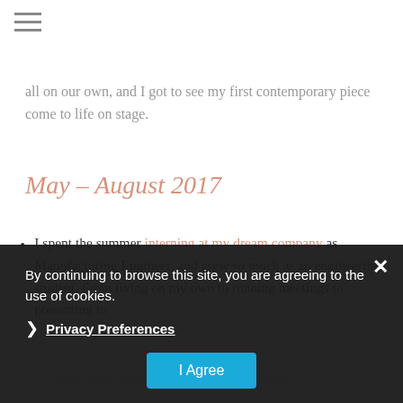≡
all on our own, and I got to see my first contemporary piece come to life on stage.
May – August 2017
I spent the summer interning at my dream company as Manufacturing Engineer, and grew so much as an engineering student. From living on my own to running meetings to presenting to senior leadership, I feel like this experience...
my own sk... the most amazing friends along the way
The main... my first internship was... presentation at the...
By continuing to browse this site, you are agreeing to the use of cookies.
Privacy Preferences
I Agree